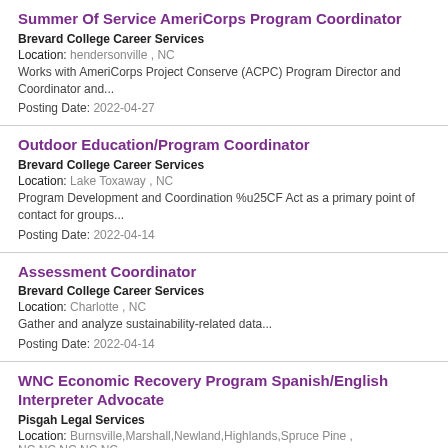Summer Of Service AmeriCorps Program Coordinator
Brevard College Career Services
Location: hendersonville , NC
Works with AmeriCorps Project Conserve (ACPC) Program Director and Coordinator and...
Posting Date: 2022-04-27
Outdoor Education/Program Coordinator
Brevard College Career Services
Location: Lake Toxaway , NC
Program Development and Coordination %u25CF Act as a primary point of contact for groups...
Posting Date: 2022-04-14
Assessment Coordinator
Brevard College Career Services
Location: Charlotte , NC
Gather and analyze sustainability-related data...
Posting Date: 2022-04-14
WNC Economic Recovery Program Spanish/English Interpreter Advocate
Pisgah Legal Services
Location: Burnsville,Marshall,Newland,Highlands,Spruce Pine , NC,NC,NC,NC,NC
WNC Economic Recovery Program Spanish/English Interpreter Advocate...